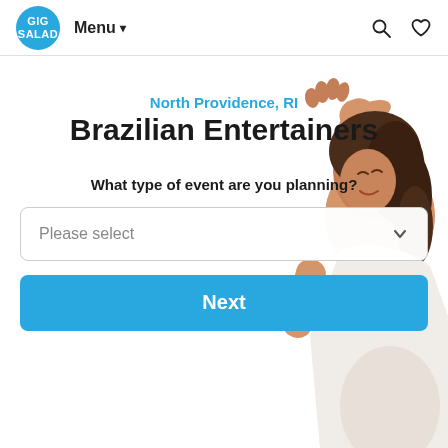GIG SALAD  Menu  [search icon] [heart icon]
[Figure (illustration): A woman with curly hair wearing a white top, dancing with one arm raised — shown as a decorative background image on the right side of the page.]
North Providence, RI
Brazilian Entertainers
What type of event are you planning?
Please select
Next